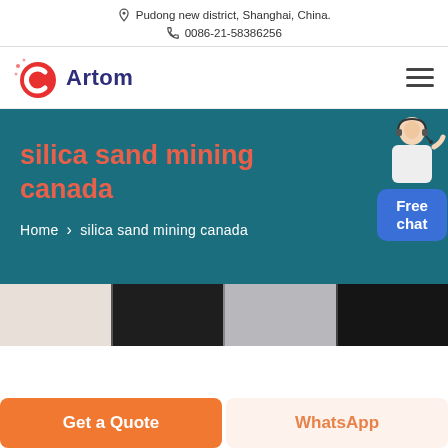Pudong new district, Shanghai, China.   0086-21-58386256
[Figure (logo): Artom company logo with red circular C icon and blue bold text 'Artom']
silica sand mining canada
Home > silica sand mining canada
[Figure (photo): Partial product/machinery photo strip at bottom of hero section]
Get a Quote
WhatsApp